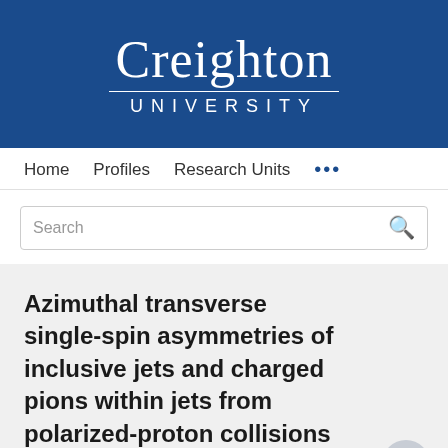[Figure (logo): Creighton University logo — white text on dark blue background, reading 'Creighton' in serif and 'UNIVERSITY' in spaced sans-serif caps with a horizontal rule between]
Home   Profiles   Research Units   ...
Search
Azimuthal transverse single-spin asymmetries of inclusive jets and charged pions within jets from polarized-proton collisions at s = 500 GeV